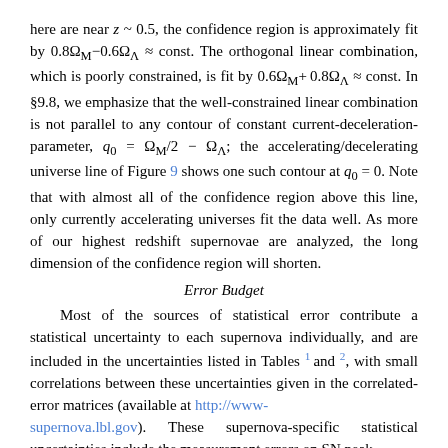here are near z ~ 0.5, the confidence region is approximately fit by 0.8Ω_M − 0.6Ω_Λ ≈ const. The orthogonal linear combination, which is poorly constrained, is fit by 0.6Ω_M + 0.8Ω_Λ ≈ const. In §9.8, we emphasize that the well-constrained linear combination is not parallel to any contour of constant current-deceleration-parameter, q_0 = Ω_M/2 − Ω_Λ; the accelerating/decelerating universe line of Figure 9 shows one such contour at q_0 = 0. Note that with almost all of the confidence region above this line, only currently accelerating universes fit the data well. As more of our highest redshift supernovae are analyzed, the long dimension of the confidence region will shorten.
Error Budget
Most of the sources of statistical error contribute a statistical uncertainty to each supernova individually, and are included in the uncertainties listed in Tables 1 and 2, with small correlations between these uncertainties given in the correlated-error matrices (available at http://www-supernova.lbl.gov). These supernova-specific statistical uncertainties include the measurement errors on SN peak